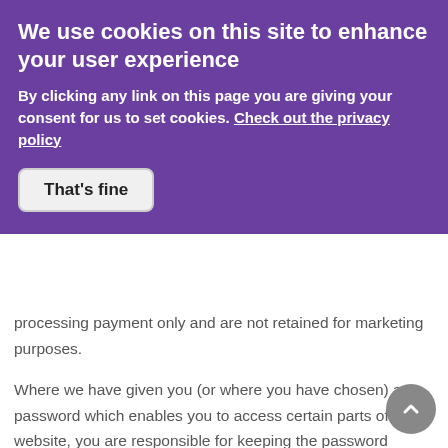We use cookies on this site to enhance your user experience
By clicking any link on this page you are giving your consent for us to set cookies. Check out the privacy policy
processing payment only and are not retained for marketing purposes.
Where we have given you (or where you have chosen) a password which enables you to access certain parts of our website, you are responsible for keeping the password confidential. We ask you not to share a password with anyone.
Unfortunately, the transmission of information via the internet is not completely secure. Although we will do our best to protect your personal data, we cannot guarantee the security of your data transmitted to our